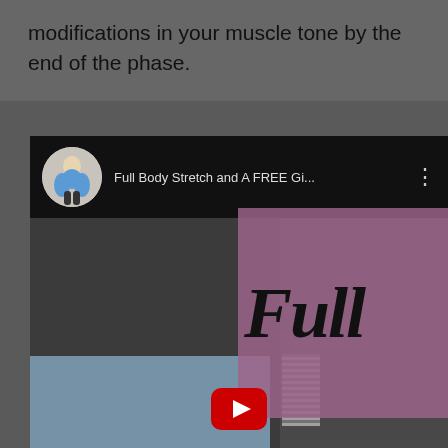modifications in your muscle tone by the end of the phase.
[Figure (screenshot): Embedded YouTube-style video player showing 'Full Body Stretch and A FREE Gi...' with channel avatar of a blonde woman in blue top, and a pink/purple overlay with large italic text reading 'Full B...' and a person doing a stretch below]